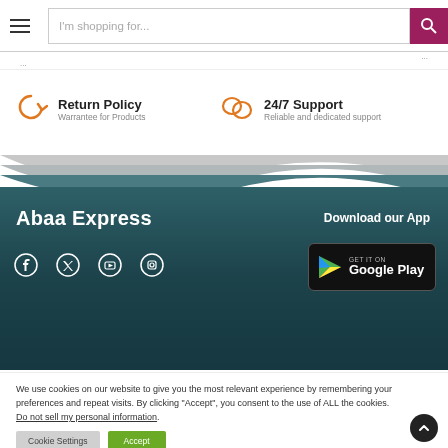I'm shopping for...
Return Policy
Warrantee for Products
24/7 Support
Reliable and dedicated support
Abaa Express
Download our App
[Figure (logo): GET IT ON Google Play button]
We use cookies on our website to give you the most relevant experience by remembering your preferences and repeat visits. By clicking “Accept”, you consent to the use of ALL the cookies.
Do not sell my personal information.
Cookie Settings   Accept